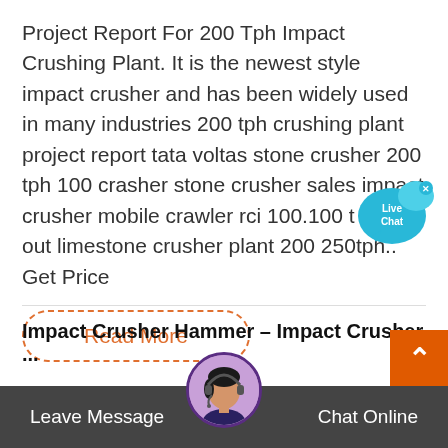Project Report For 200 Tph Impact Crushing Plant. It is the newest style impact crusher and has been widely used in many industries 200 tph crushing plant project report tata voltas stone crusher 200 tph 100 crasher stone crusher sales impact crusher mobile crawler rci 100.100 t find out limestone crusher plant 200 250tph.. Get Price
Read More
[Figure (other): Live Chat speech bubble icon in cyan/blue color with 'Live Chat' text and an X close button]
Impact Crusher Hammer – Impact Crusher ...
hammer crusher The material crushed by the hammer crusher (hammer Mill) through the collisions between high speed hammer and material… the PC hammer crusher(hammer...
[Figure (other): Orange scroll-to-top button with upward arrow chevron]
[Figure (photo): Customer service avatar - woman with headset, circular photo]
Leave Message
Chat Online